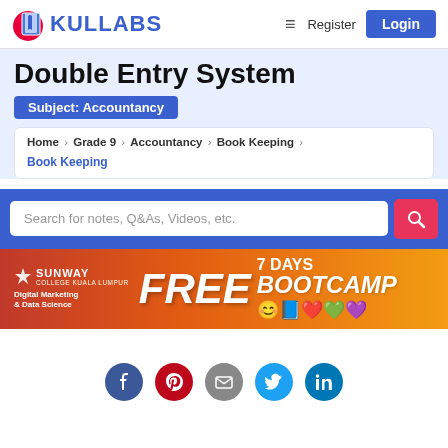Kullabs | Register | Login
Double Entry System
Subject: Accountancy
Home > Grade 9 > Accountancy > Book Keeping > Book Keeping
Search for notes, Q&As, Videos, etc.
[Figure (infographic): Sunway College Kuala Lumpur advertisement banner: FREE 7 DAYS BOOTCAMP, Digital Marketing & Data Science]
[Figure (infographic): Social media share icons: Facebook, Pinterest, Email, Twitter, LinkedIn]